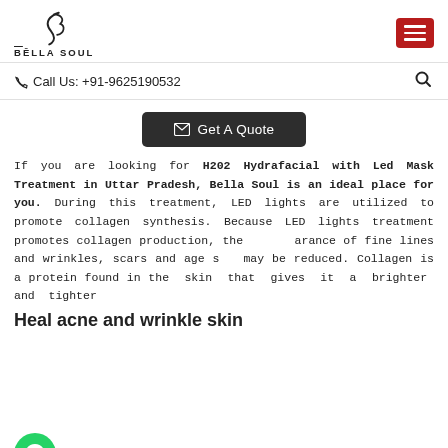BELLA SOUL
Call Us: +91-9625190532
[Figure (other): Get A Quote button with envelope icon]
If you are looking for H202 Hydrafacial with Led Mask Treatment in Uttar Pradesh, Bella Soul is an ideal place for you. During this treatment, LED lights are utilized to promote collagen synthesis. Because LED lights treatment promotes collagen production, the appearance of fine lines and wrinkles, scars and age spots may be reduced. Collagen is a protein found in the skin that gives it a brighter and tighter
Heal acne and wrinkle skin